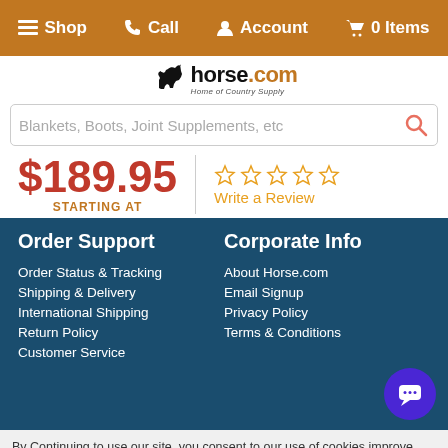≡ Shop  ✆ Call  ✦ Account  ⊕ 0 Items
[Figure (logo): Horse.com logo - Home of Country Supply]
Blankets, Boots, Joint Supplements, etc
$189.95 STARTING AT
☆☆☆☆☆ Write a Review
Order Support
Corporate Info
Order Status & Tracking
About Horse.com
Shipping & Delivery
Email Signup
International Shipping
Privacy Policy
Return Policy
Terms & Conditions
Customer Service
By Continuing to use our site, you consent to our use of cookies improve your experience. Learn more
- 1 + Add to Cart ▲